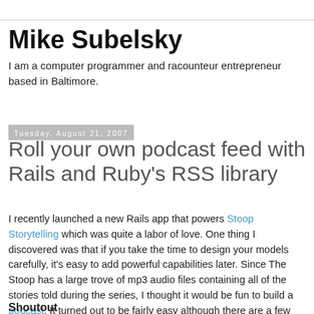Mike Subelsky
I am a computer programmer and racounteur entrepreneur based in Baltimore.
Tuesday, August 21, 2007
Roll your own podcast feed with Rails and Ruby's RSS library
I recently launched a new Rails app that powers Stoop Storytelling which was quite a labor of love. One thing I discovered was that if you take the time to design your models carefully, it's easy to add powerful capabilities later. Since The Stoop has a large trove of mp3 audio files containing all of the stories told during the series, I thought it would be fun to build a podcast. It turned out to be fairly easy although there are a few gotchas.
Shoutout